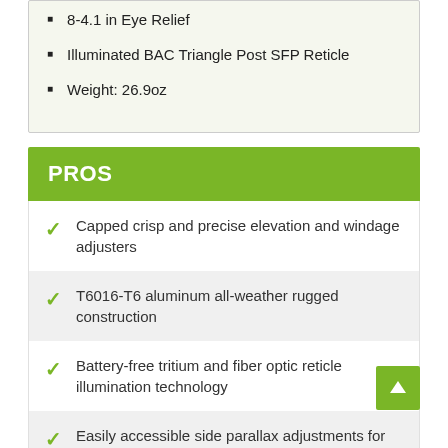8-4.1 in Eye Relief
Illuminated BAC Triangle Post SFP Reticle
Weight: 26.9oz
PROS
Capped crisp and precise elevation and windage adjusters
T6016-T6 aluminum all-weather rugged construction
Battery-free tritium and fiber optic reticle illumination technology
Easily accessible side parallax adjustments for